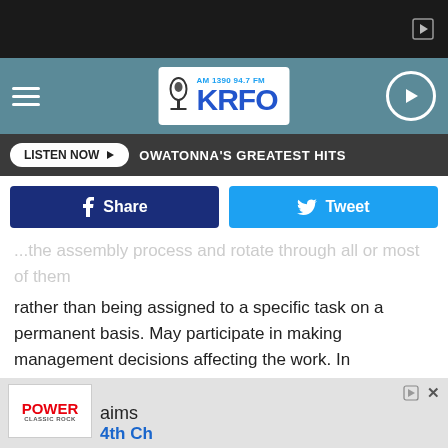[Figure (screenshot): Top dark ad bar with small ad icon (triangle in rectangle)]
KRFO AM 1390 94.7 FM — Owatonna's Greatest Hits
LISTEN NOW ▶   OWATONNA'S GREATEST HITS
f Share   🐦 Tweet
...the assembly process and rotate through all of most of them rather than being assigned to a specific task on a permanent basis. May participate in making management decisions affecting the work. In Minnesota, people in this occupation tend to earn between $14.04 to $20.05 per hour.
[Figure (logo): Power Classic Rock logo and partial ad at bottom with 4th Ch... text]